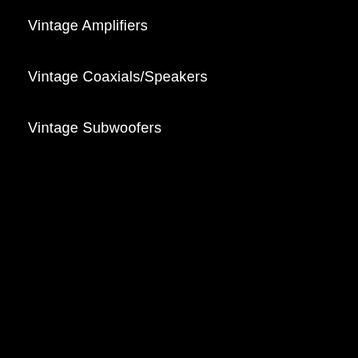Vintage Amplifiers
Vintage Coaxials/Speakers
Vintage Subwoofers